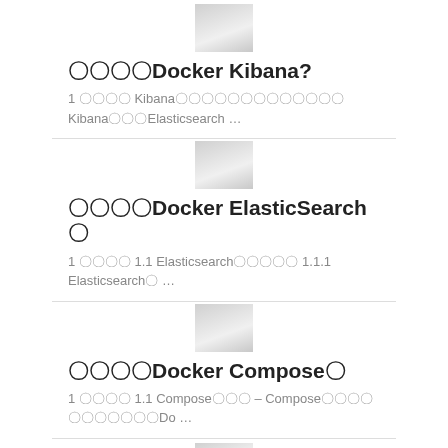[Figure (illustration): Thumbnail image placeholder for Docker Kibana article]
〇〇〇〇Docker Kibana?
1 〇〇〇〇 Kibana〇〇〇〇〇〇〇〇〇〇〇〇〇 Kibana〇〇〇Elasticsearch …
[Figure (illustration): Thumbnail image placeholder for Docker ElasticSearch article]
〇〇〇〇Docker ElasticSearch〇
1 〇〇〇〇 1.1 Elasticsearch〇〇〇〇〇 1.1.1 Elasticsearch〇 …
[Figure (illustration): Thumbnail image placeholder for Docker Compose article]
〇〇〇〇Docker Compose〇
1 〇〇〇〇 1.1 Compose〇〇〇 – Compose〇〇〇〇〇〇〇〇〇〇〇Do …
[Figure (illustration): Thumbnail image placeholder for next article]